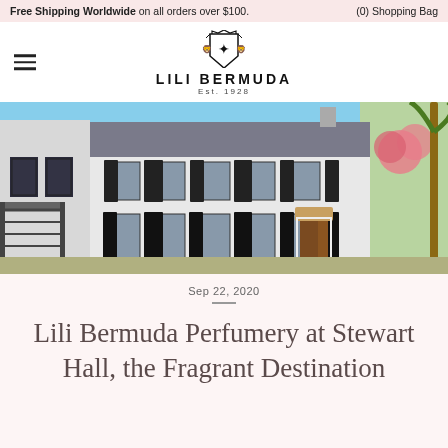Free Shipping Worldwide on all orders over $100.   (0) Shopping Bag
[Figure (logo): Lili Bermuda logo with crest icon, text LILI BERMUDA Est. 1928]
[Figure (photo): Exterior photo of Stewart Hall, a white colonial building with black shutters and tropical vegetation]
Sep 22, 2020
Lili Bermuda Perfumery at Stewart Hall, the Fragrant Destination